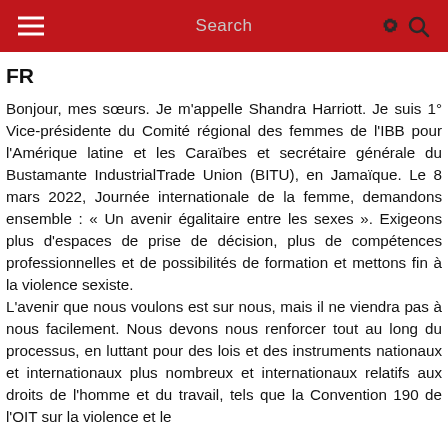Search
FR
Bonjour, mes sœurs. Je m'appelle Shandra Harriott. Je suis 1° Vice-présidente du Comité régional des femmes de l'IBB pour l'Amérique latine et les Caraïbes et secrétaire générale du Bustamante IndustrialTrade Union (BITU), en Jamaïque. Le 8 mars 2022, Journée internationale de la femme, demandons ensemble : « Un avenir égalitaire entre les sexes ». Exigeons plus d'espaces de prise de décision, plus de compétences professionnelles et de possibilités de formation et mettons fin à la violence sexiste.
L'avenir que nous voulons est sur nous, mais il ne viendra pas à nous facilement. Nous devons nous renforcer tout au long du processus, en luttant pour des lois et des instruments nationaux et internationaux plus nombreux et internationaux relatifs aux droits de l'homme et du travail, tels que la Convention 190 de l'OIT sur la violence et le